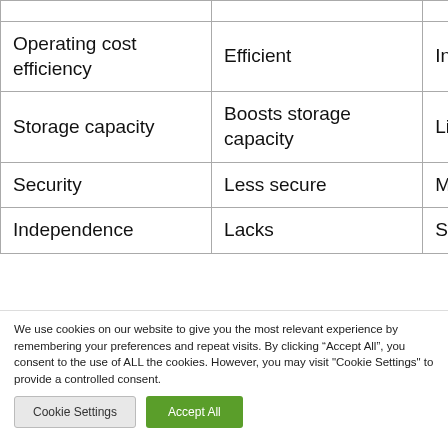|  | Cloud | On-premise |
| --- | --- | --- |
| Operating cost efficiency | Efficient | Inefficient |
| Storage capacity | Boosts storage capacity | Limited storage capacity |
| Security | Less secure | More Secure |
| Independence | Lacks | Systems are more |
We use cookies on our website to give you the most relevant experience by remembering your preferences and repeat visits. By clicking “Accept All”, you consent to the use of ALL the cookies. However, you may visit "Cookie Settings" to provide a controlled consent.